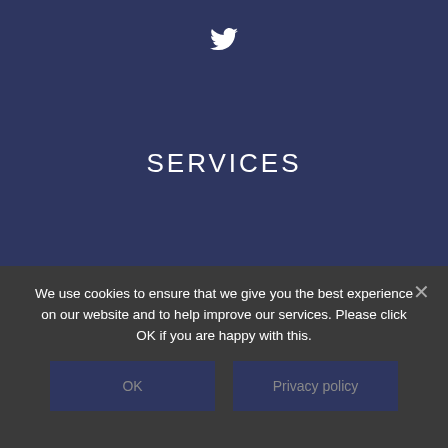[Figure (logo): Twitter bird icon in white]
SERVICES
Reputation & Identity
Media
Crisis Management
Financial & Investor PR
QUICK LINKS
We use cookies to ensure that we give you the best experience on our website and to help improve our services. Please click OK if you are happy with this.
OK
Privacy policy